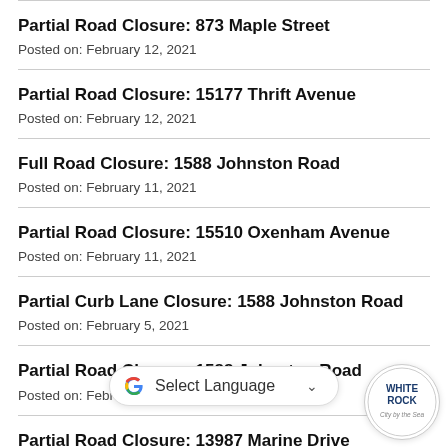Partial Road Closure: 873 Maple Street
Posted on: February 12, 2021
Partial Road Closure: 15177 Thrift Avenue
Posted on: February 12, 2021
Full Road Closure: 1588 Johnston Road
Posted on: February 11, 2021
Partial Road Closure: 15510 Oxenham Avenue
Posted on: February 11, 2021
Partial Curb Lane Closure: 1588 Johnston Road
Posted on: February 5, 2021
Partial Road Closure: 1588 Johnston Road
Posted on: February 5, 2021
Partial Road Closure: 13987 Marine Drive
Posted on: February 4, 2021